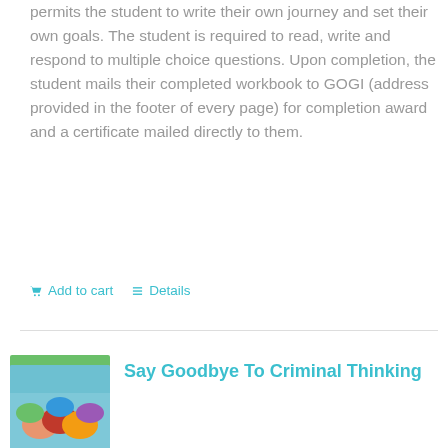permits the student to write their own journey and set their own goals. The student is required to read, write and respond to multiple choice questions. Upon completion, the student mails their completed workbook to GOGI (address provided in the footer of every page) for completion award and a certificate mailed directly to them.
Add to cart   Details
[Figure (illustration): Book cover thumbnail for 'Say Goodbye To Criminal Thinking' with a green banner at top and colorful hands image below]
Say Goodbye To Criminal Thinking